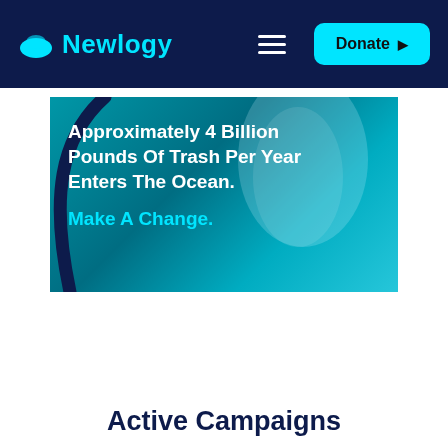Newlogy | Donate
[Figure (photo): Underwater photo showing ocean water with blue hues and a dark curved rope or net, used as hero banner background]
Approximately 4 Billion Pounds Of Trash Per Year Enters The Ocean.
Make A Change.
Active Campaigns